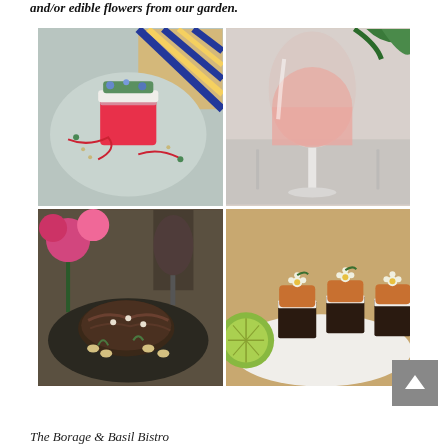and/or edible flowers from our garden.
[Figure (photo): Grid of four food photos: top-left shows a watermelon salad with goat cheese and edible flowers on a ceramic plate; top-right shows a glass of rosé wine with a blurred background; bottom-left shows a seared meat dish with vegetables, flowers in background; bottom-right shows small chocolate cake bites topped with sauce and edible flowers with lime on a white plate.]
The Borage & Basil Bistro